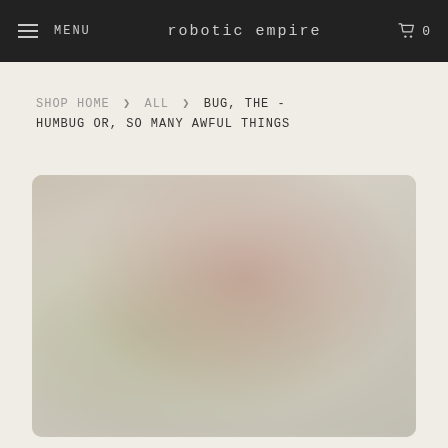MENU   robotic empire   0
SHOP HOME > ALL > BUG, THE - HUMBUG OR, SO MANY AWFUL THINGS
[Figure (photo): Blurred product image showing what appears to be an album cover with bowl-like imagery in muted greens, creams, and purplish-red tones]